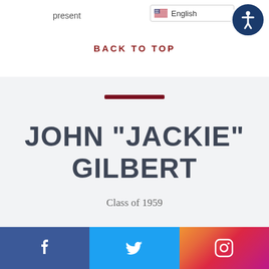present
English
BACK TO TOP
JOHN "JACKIE" GILBERT
Class of 1959
Facebook | Twitter | Instagram